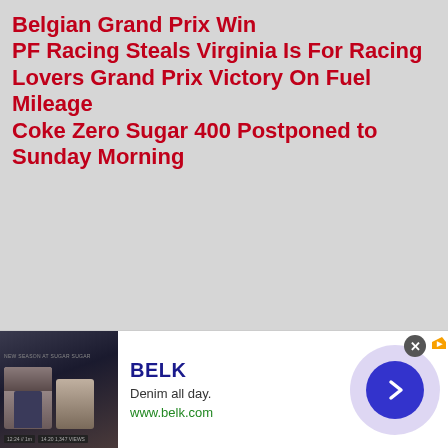Belgian Grand Prix Win
PF Racing Steals Virginia Is For Racing Lovers Grand Prix Victory On Fuel Mileage
Coke Zero Sugar 400 Postponed to Sunday Morning
[Figure (photo): Red racing banner/divider image]
[Figure (photo): Gray placeholder content area]
[Figure (other): BELK advertisement banner with denim clothing promotion. Shows brand name BELK, tagline 'Denim all day.', URL www.belk.com, clothing photo, and navigation arrow.]